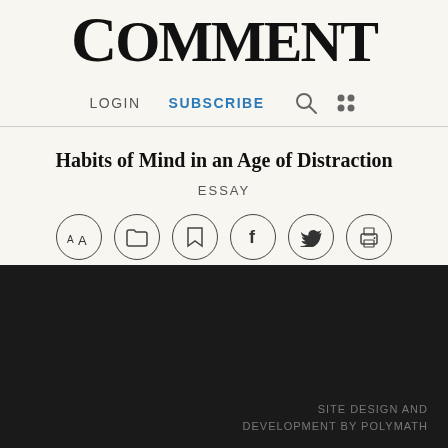COMMENT
LOGIN   SUBSCRIBE
Habits of Mind in an Age of Distraction
ESSAY
FAQ
Careers
Privacy Policy
Subscribe
Login
Shop
SITE DESIGN AND DEVELOPMENT BY POLYMATH